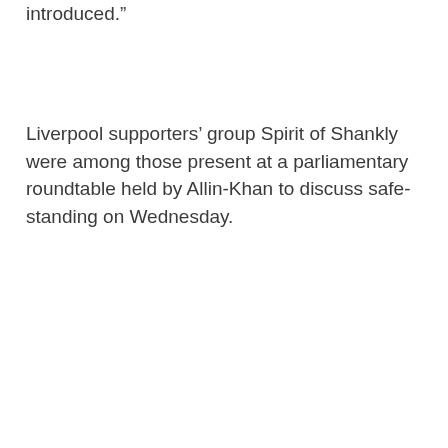introduced.”
Liverpool supporters’ group Spirit of Shankly were among those present at a parliamentary roundtable held by Allin-Khan to discuss safe-standing on Wednesday.